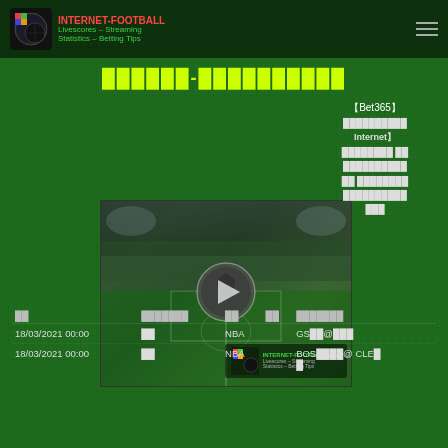INTERNET-FOOTBALL Livescores – Streaming Statistics – Betting Tips
██████-██████████
[Figure (screenshot): Football stadium video thumbnail with play button overlay and Internet-Football.com watermark logo]
【Bet365】 ██████████ Internet】 ████████ ██ ██████████ ██ ████████ ██████████ ███
| ██ | ███████ | ██ | ██ | ███████ |
| --- | --- | --- | --- | --- |
| 18/03/2021 00:00 | ██ | NBA | GS██@███ |
| 18/03/2021 00:00 | ██ | NBA | BOS████@ CLE█ |